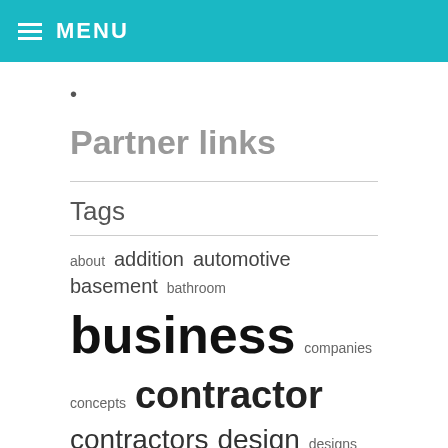MENU
•
Partner links
Tags
about addition automotive basement bathroom business companies concepts contractor contractors design designs drywall dwelling education enchancment fashion flooring